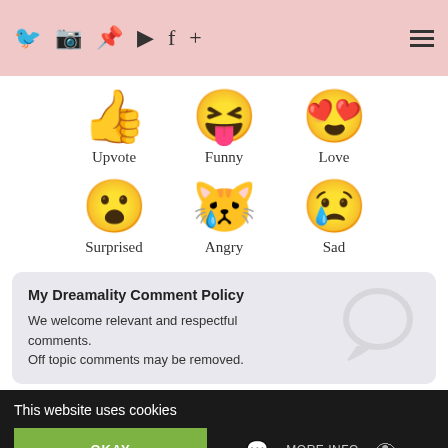[Figure (other): Social media navigation header bar with pink background. Icons for Twitter, Instagram, Pinterest, YouTube, Facebook, plus sign on left; hamburger menu on right.]
[Figure (infographic): Six emoji reaction icons arranged in a 2-row by 3-column grid: Upvote (thumbs up), Funny (XD face with tongue), Love (heart eyes face), Surprised (astonished face), Angry (crying face), Sad (sad face with tear). Each emoji has a label below it.]
My Dreamality Comment Policy
We welcome relevant and respectful comments. Off topic comments may be removed.
This website uses cookies
OKAY
MORE INFO